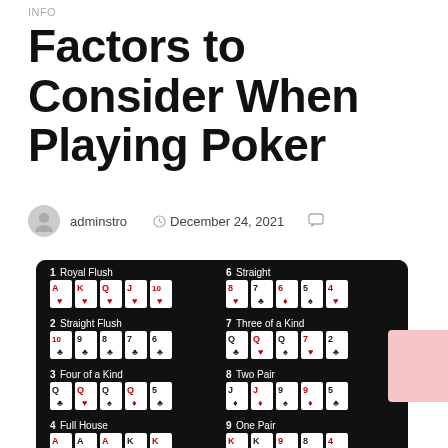INFO
Factors to Consider When Playing Poker
adminstro   December 24, 2021
[Figure (infographic): Poker hand rankings infographic on black background showing 10 hand types with card illustrations: 1 Royal Flush, 2 Straight Flush, 3 Four of a Kind, 4 Full House, 5 Flush, 6 Straight, 7 Three of a Kind, 8 Two Pair, 9 One Pair, 10 High Card]